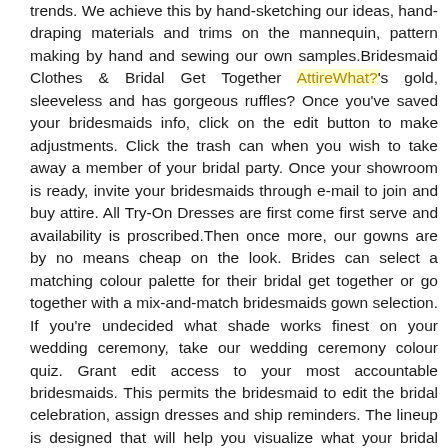trends. We achieve this by hand-sketching our ideas, hand-draping materials and trims on the mannequin, pattern making by hand and sewing our own samples.Bridesmaid Clothes & Bridal Get Together AttireWhat?'s gold, sleeveless and has gorgeous ruffles? Once you've saved your bridesmaids info, click on the edit button to make adjustments. Click the trash can when you wish to take away a member of your bridal party. Once your showroom is ready, invite your bridesmaids through e-mail to join and buy attire. All Try-On Dresses are first come first serve and availability is proscribed.Then once more, our gowns are by no means cheap on the look. Brides can select a matching colour palette for their bridal get together or go together with a mix-and-match bridesmaids gown selection. If you're undecided what shade works finest on your wedding ceremony, take our wedding ceremony colour quiz. Grant edit access to your most accountable bridesmaids. This permits the bridesmaid to edit the bridal celebration, assign dresses and ship reminders. The lineup is designed that will help you visualize what your bridal celebration will seem like all together on the big day!If you are looking for a sultry and glamorous look for your girls, look no additional than this off-the-shoulder, sequin mermaid bridesmaid dress...